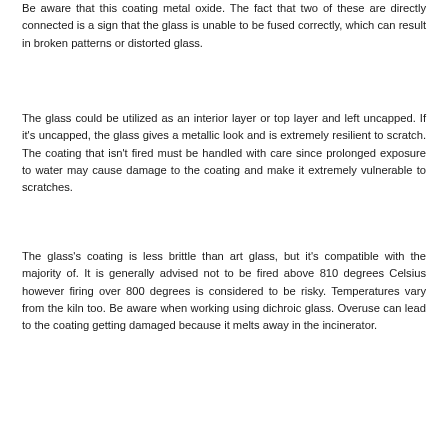Be aware that this coating metal oxide. The fact that two of these are directly connected is a sign that the glass is unable to be fused correctly, which can result in broken patterns or distorted glass.
The glass could be utilized as an interior layer or top layer and left uncapped. If it's uncapped, the glass gives a metallic look and is extremely resilient to scratch. The coating that isn't fired must be handled with care since prolonged exposure to water may cause damage to the coating and make it extremely vulnerable to scratches.
The glass's coating is less brittle than art glass, but it's compatible with the majority of. It is generally advised not to be fired above 810 degrees Celsius however firing over 800 degrees is considered to be risky. Temperatures vary from the kiln too. Be aware when working using dichroic glass. Overuse can lead to the coating getting damaged because it melts away in the incinerator.